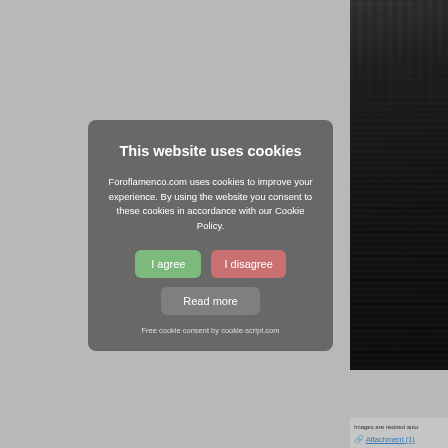[Figure (screenshot): Cookie consent modal dialog overlay on a website. Gray background with darker right column showing a dark forest photo. Modal box with dark translucent background contains title, body text, and buttons.]
This website uses cookies
Foroflamenco.com uses cookies to improve your experience. By using the website you consent to these cookies in accordance with our Cookie Policy.
I agree
I disagree
Read more
Free cookie consent by cookie-script.com
Images are resized auto
Attachment (1)